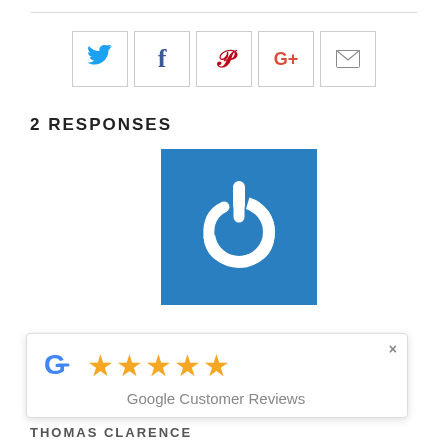[Figure (infographic): Horizontal rule divider line]
[Figure (infographic): Social sharing buttons: Twitter, Facebook, Pinterest, Google+, Email]
2 RESPONSES
[Figure (logo): Blue square avatar with white power/link icon logo]
[Figure (infographic): Google Customer Reviews overlay with 5 gold stars and Google G logo, with close X button]
THOMAS CLARENCE